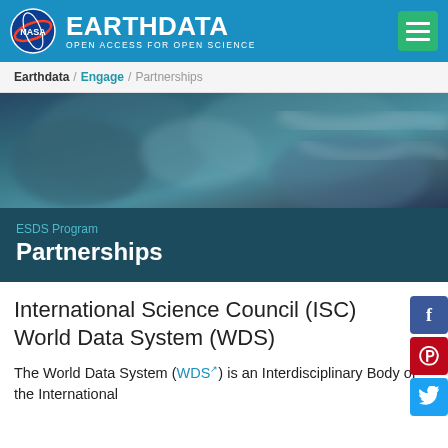EARTHDATA — OPEN ACCESS FOR OPEN SCIENCE
Earthdata / Engage / Partnerships
[Figure (photo): Satellite aerial image of earth surface with blue-teal tones, showing terrain and water features]
ESDS Program
Partnerships
International Science Council (ISC) World Data System (WDS)
The World Data System (WDS) is an Interdisciplinary Body of the International